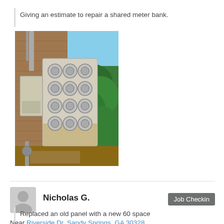Giving an estimate to repair a shared meter bank.
[Figure (photo): Photo of a shared electric meter bank mounted on a brick wall exterior, showing multiple round electric meters stacked in rows on a weathered panel, with green foliage visible on the right side and gravel ground below.]
Nicholas G.
Job Checkin
Near Riverside Dr, Sandy Springs, GA 30328
179 days ago
Replaced an old panel with a new 60 space